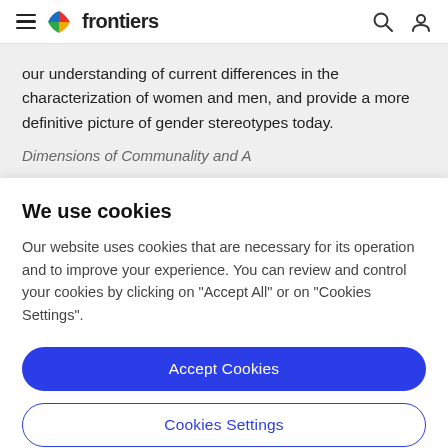frontiers
our understanding of current differences in the characterization of women and men, and provide a more definitive picture of gender stereotypes today.
Dimensions of Communality and A...
We use cookies
Our website uses cookies that are necessary for its operation and to improve your experience. You can review and control your cookies by clicking on "Accept All" or on "Cookies Settings".
Accept Cookies
Cookies Settings